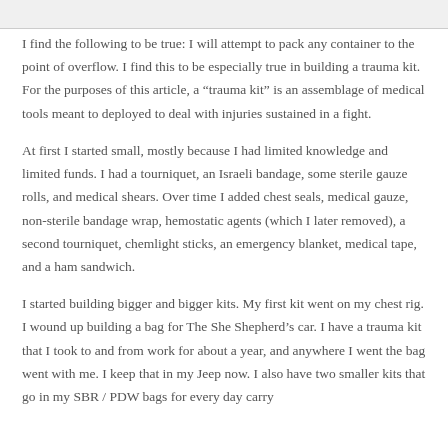I find the following to be true: I will attempt to pack any container to the point of overflow. I find this to be especially true in building a trauma kit. For the purposes of this article, a “trauma kit” is an assemblage of medical tools meant to deployed to deal with injuries sustained in a fight.
At first I started small, mostly because I had limited knowledge and limited funds. I had a tourniquet, an Israeli bandage, some sterile gauze rolls, and medical shears. Over time I added chest seals, medical gauze, non-sterile bandage wrap, hemostatic agents (which I later removed), a second tourniquet, chemlight sticks, an emergency blanket, medical tape, and a ham sandwich.
I started building bigger and bigger kits. My first kit went on my chest rig. I wound up building a bag for The She Shepherd’s car. I have a trauma kit that I took to and from work for about a year, and anywhere I went the bag went with me. I keep that in my Jeep now. I also have two smaller kits that go in my SBR / PDW bags for every day carry...